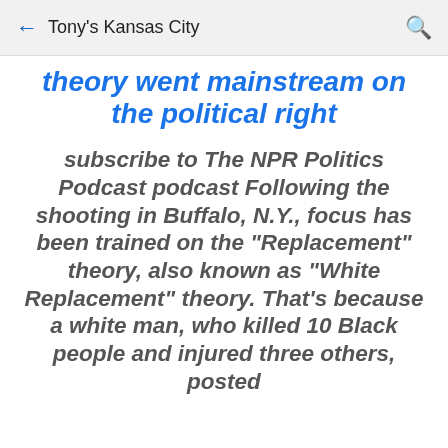← Tony's Kansas City 🔍
theory went mainstream on the political right
subscribe to The NPR Politics Podcast podcast Following the shooting in Buffalo, N.Y., focus has been trained on the "Replacement" theory, also known as "White Replacement" theory. That's because a white man, who killed 10 Black people and injured three others, posted